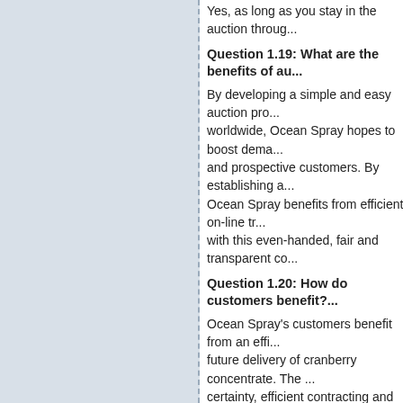Yes, as long as you stay in the auction through...
Question 1.19: What are the benefits of au...
By developing a simple and easy auction pro... worldwide, Ocean Spray hopes to boost dema... and prospective customers. By establishing a... Ocean Spray benefits from efficient on-line tr... with this even-handed, fair and transparent co...
Question 1.20: How do customers benefit?...
Ocean Spray's customers benefit from an effi... future delivery of cranberry concentrate. The ... certainty, efficient contracting and supply flexi...
Question 1.21: Why do you think custome... auctions?
In uncertain times, the advantages the auctio... customers to take part. Customers will have p... price certainty, efficient contracting and suppl... provided to guide customers through the pro...
Question 1.22: What is the difference betw...
For each Round of the auction, each bidder h... number of gallons that the bidder may bid co... eligibility declines or remains the same as the... the auction progresses. A bidder's eligibility i...